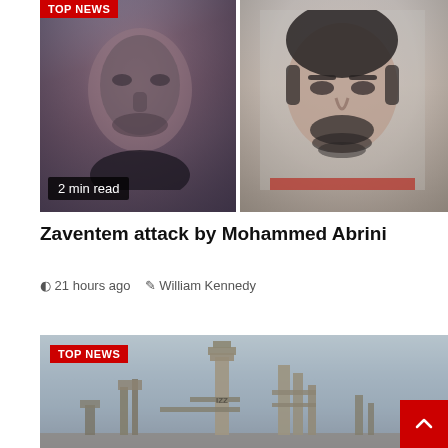[Figure (photo): Two faces side by side: left is a blurry/dark surveillance-style photo of a man; right is a clearer mugshot-style photo of Mohammed Abrini. A 'TOP NEWS' red badge appears at top left. A '2 min read' badge overlays the bottom left of the left photo.]
Zaventem attack by Mohammed Abrini
21 hours ago   William Kennedy
[Figure (photo): Industrial refinery/chemical plant with towers and pipes against a grey sky. A 'TOP NEWS' red badge overlays the top left. A red scroll-up button with a caret/arrow appears at the bottom right.]